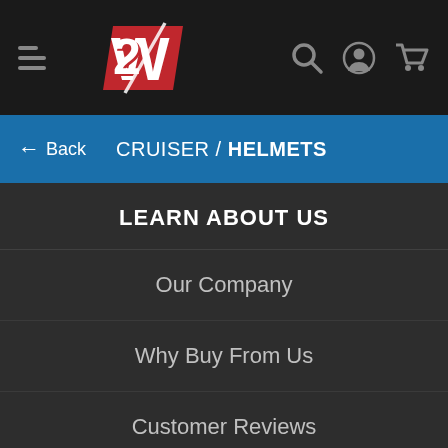[Figure (screenshot): Mobile app navigation bar with hamburger menu icon, 2W logo in red and white, search icon, account icon, and cart icon on dark background]
[Figure (screenshot): Blue navigation breadcrumb bar with back arrow, Back text, and CRUISER / HELMETS category label]
LEARN ABOUT US
Our Company
Why Buy From Us
Customer Reviews
Partner Program
Job Openings